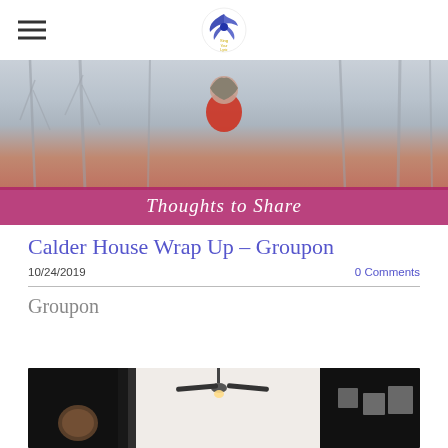Thoughts to Share — site header with hamburger menu and logo
[Figure (photo): Hero banner photo of a woman in a red coat outdoors in winter with bare trees, overlaid with a pink/magenta bar reading 'Thoughts to Share']
Calder House Wrap Up – Groupon
10/24/2019   0 Comments
Groupon
[Figure (photo): Interior room photo showing dark/black walls with white ceiling, ceiling fan with light, curtains, and wall decorations/frames on the right side]